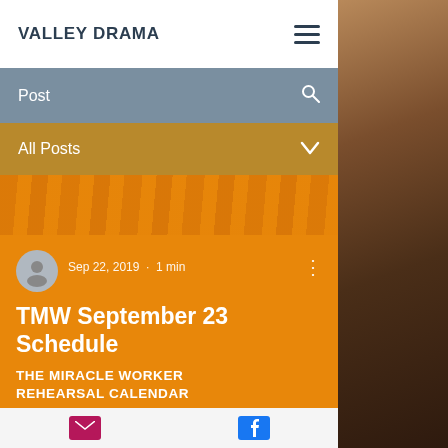VALLEY DRAMA
Post
All Posts
Sep 22, 2019 · 1 min
TMW September 23 Schedule
THE MIRACLE WORKER REHEARSAL CALENDAR
Email icon | Facebook icon